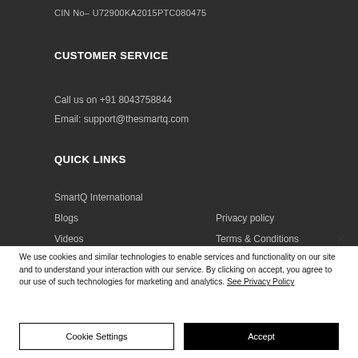CIN No– U72900KA2015PTC080475
CUSTOMER SERVICE
Call us on +91 8043758844
Email: support@thesmartq.com
QUICK LINKS
SmartQ International
Blogs
Privacy policy
Videos
Terms & Conditions
We use cookies and similar technologies to enable services and functionality on our site and to understand your interaction with our service. By clicking on accept, you agree to our use of such technologies for marketing and analytics. See Privacy Policy